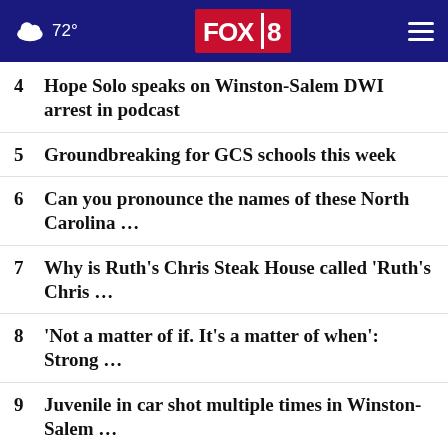FOX 8 | 72°
4  Hope Solo speaks on Winston-Salem DWI arrest in podcast
5  Groundbreaking for GCS schools this week
6  Can you pronounce the names of these North Carolina ...
7  Why is Ruth's Chris Steak House called 'Ruth's Chris ...
8  'Not a matter of if. It's a matter of when': Strong ...
9  Juvenile in car shot multiple times in Winston-Salem ...